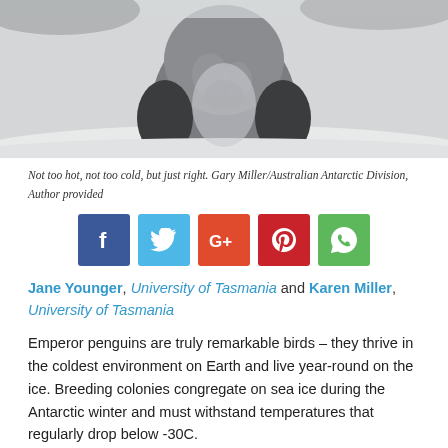[Figure (photo): Close-up photo of an emperor penguin chick nestled in snow, showing its fluffy grey plumage and small feet at the bottom, black and white tones with snowy background.]
Not too hot, not too cold, but just right. Gary Miller/Australian Antarctic Division, Author provided
[Figure (infographic): Social media sharing buttons: Facebook (dark blue), Twitter (light blue), Google+ (red-orange), Pinterest (dark red), WhatsApp (green)]
Jane Younger, University of Tasmania and Karen Miller, University of Tasmania
Emperor penguins are truly remarkable birds – they thrive in the coldest environment on Earth and live year-round on the ice. Breeding colonies congregate on sea ice during the Antarctic winter and must withstand temperatures that regularly drop below -30C.